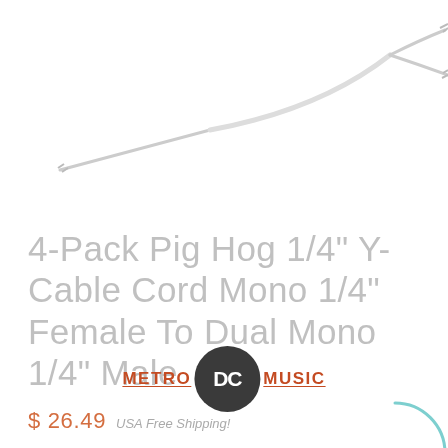[Figure (photo): Y-cable cord product photo showing a 1/4 inch female to dual 1/4 inch male cable against white background, light gray/white color]
4-Pack Pig Hog 1/4" Y-Cable Cord Mono 1/4" Female To Dual Mono 1/4" Male
$ 26.49  USA Free Shipping!
The Pig Hog Solutions line features an expanding selection of adapters and cables designed to solve common interfacing problems in the studio and on stage. Each cable is manufactured to...